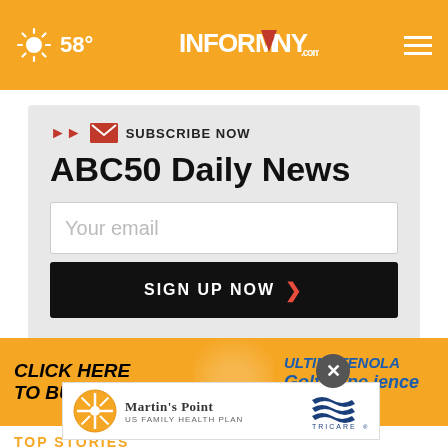58° INFORMNNY.com
SUBSCRIBE NOW
ABC50 Daily News
Your email
SIGN UP NOW
[Figure (infographic): Gold banner ad reading CLICK HERE TO BUY! ULTIMATE NOLA Golf Experience CARD]
[Figure (logo): Martin's Point US Family Health Plan - Tricare advertisement banner]
TOP STORIES